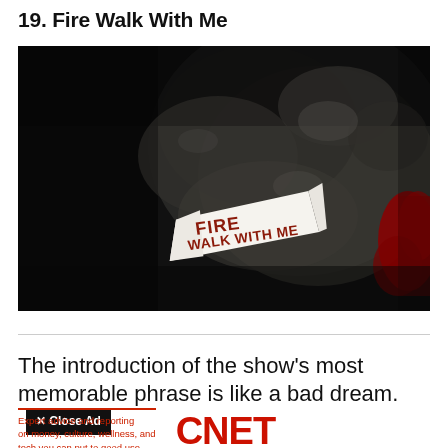19. Fire Walk With Me
[Figure (photo): Dark atmospheric still from Twin Peaks showing a piece of paper on a rocky/asphalt surface with the words FIRE WALK WITH ME written in red letters, with a red stain visible on the right side of the image]
The introduction of the show's most memorable phrase is like a bad dream.
[Figure (other): CNET advertisement banner with Close Ad button, tagline 'Expert advice and reporting on money, culture, wellness, and tech you can put to good use.' and CNET logo in red]